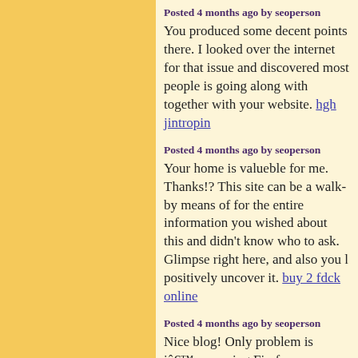Posted 4 months ago by seoperson
You produced some decent points there. I looked over the internet for that issue and discovered most people is going along with together with your website. hgh jintropin
Posted 4 months ago by seoperson
Your home is valueble for me. Thanks!? This site can be a walk-by means of for the entire information you wished about this and didn't know who to ask. Glimpse right here, and also you l positively uncover it. buy 2 fdck online
Posted 4 months ago by seoperson
Nice blog! Only problem is iâ€™m running Firefox on Debian, and the site is looking a little.. weird! Perhaps you may want to test it to see for yourself. idola77
Posted 4 months ago by seoperson